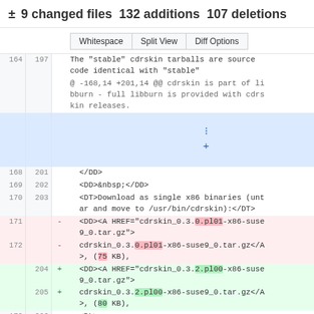± 9 changed files 132 additions 107 deletions
Whitespace | Split View | Diff Options
| old-ln | new-ln | op | code |
| --- | --- | --- | --- |
| 164 | 197 |  | The "stable" cdrskin tarballs are source code identical with "stable" |
|  |  |  | @ -168,14 +201,14 @@ cdrskin is part of libburn - full libburn is provided with cdrskin releases. |
|  |  |  | (expand) |
| 168 | 201 |  | </DD> |
| 169 | 202 |  | <DD>&nbsp;</DD> |
| 170 | 203 |  | <DT>Download as single x86 binaries (untar and move to /usr/bin/cdrskin):</DT> |
| 171 |  | - | <DD><A HREF="cdrskin_0.3.0.pl01-x86-suse9_0.tar.gz"> |
| 172 |  | - | cdrskin_0.3.0.pl01-x86-suse9_0.tar.gz</A>, (75 KB), |
|  | 204 | + | <DD><A HREF="cdrskin_0.3.2.pl00-x86-suse9_0.tar.gz"> |
|  | 205 | + | cdrskin_0.3.2.pl00-x86-suse9_0.tar.gz</A>, (80 KB), |
| 173 | 206 |  | <DL> |